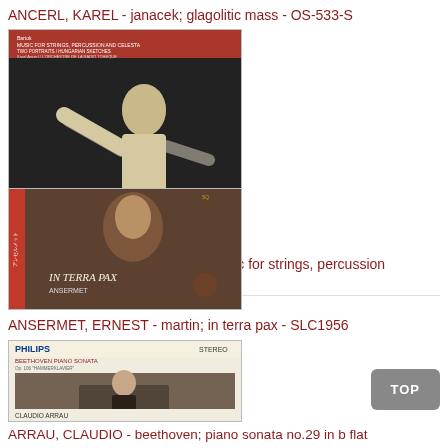ANCERL, KAREL - janacek; glagolitic mass - OS-533-S
[Figure (photo): Album cover showing a conductor with arms raised, black and white photo, with red text at top]
ANSERMET, ERNEST - bartok; music for strings, percussion and celesta - SLC-1961
[Figure (photo): Album cover 'IN TERRA PAX' with ornate religious artwork and red spine band, Japanese text on spine]
ANSERMET, ERNEST - martin; in terra pax - SLC1956
[Figure (photo): Philips Stereo album cover for Beethoven Piano Sonata featuring Claudio Arrau seated at piano, library background]
ARRAU, CLAUDIO - beethoven; piano sonata no.29 in b flat